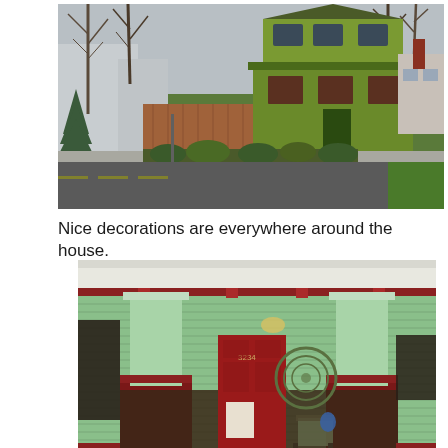[Figure (photo): Exterior street view of a two-story green house with wood fence and bare trees in winter, with a road in the foreground.]
Nice decorations are everywhere around the house.
[Figure (photo): Close-up of the front porch of a green craftsman house with light green siding, red accents, square columns, a red door, and circular decorative element on the wall.]